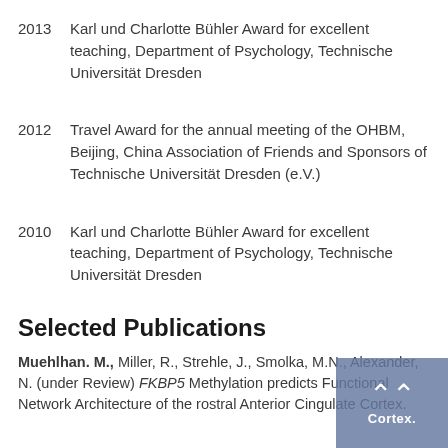2013 — Karl und Charlotte Bühler Award for excellent teaching, Department of Psychology, Technische Universität Dresden
2012 — Travel Award for the annual meeting of the OHBM, Beijing, China Association of Friends and Sponsors of Technische Universität Dresden (e.V.)
2010 — Karl und Charlotte Bühler Award for excellent teaching, Department of Psychology, Technische Universität Dresden
Selected Publications
Muehlhan. M., Miller, R., Strehle, J., Smolka, M.N., Alexander, N. (under Review) FKBP5 Methylation predicts Functional Network Architecture of the rostral Anterior Cingulate Cortex.